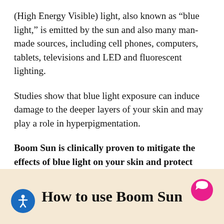(High Energy Visible) light, also known as “blue light,” is emitted by the sun and also many man-made sources, including cell phones, computers, tablets, televisions and LED and fluorescent lighting.
Studies show that blue light exposure can induce damage to the deeper layers of your skin and may play a role in hyperpigmentation.
Boom Sun is clinically proven to mitigate the effects of blue light on your skin and protect against damage caused by blue HEV light, whether you’re playing in the sun, watching a movie or hard at work in front of a screen.
How to use Boom Sun